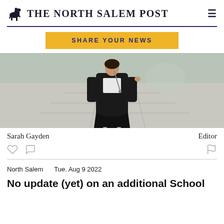THE NORTH SALEM POST
[Figure (other): Share Your News button - yellow rectangular button with dark blue bold uppercase text]
[Figure (photo): Person wearing a black graduation gown and high heels standing on a stone/paved walkway outdoors]
Sarah Gayden    Editor
North Salem    Tue. Aug 9 2022
No update (yet) on an additional School